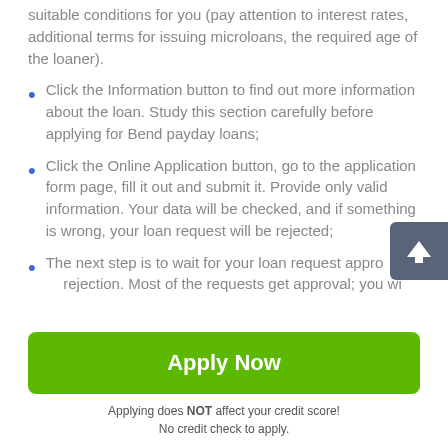suitable conditions for you (pay attention to interest rates, additional terms for issuing microloans, the required age of the loaner).
Click the Information button to find out more information about the loan. Study this section carefully before applying for Bend payday loans;
Click the Online Application button, go to the application form page, fill it out and submit it. Provide only valid information. Your data will be checked, and if something is wrong, your loan request will be rejected;
The next step is to wait for your loan request approval or rejection. Most of the requests get approval; you will get refused if you do not meet the conditions announced.
[Figure (other): Green 'Apply Now' button]
Applying does NOT affect your credit score!
No credit check to apply.